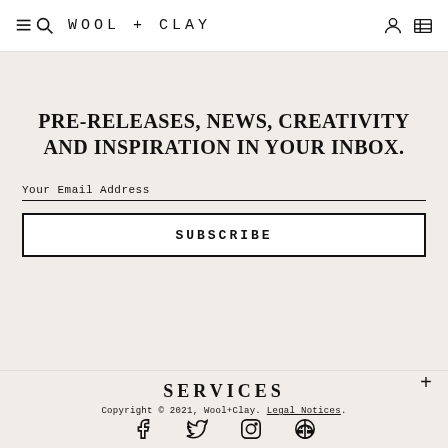WOOL + CLAY
PRE-RELEASES, NEWS, CREATIVITY AND INSPIRATION IN YOUR INBOX.
Your Email Address
SUBSCRIBE
SERVICES
Copyright © 2021, Wool+Clay. Legal Notices.